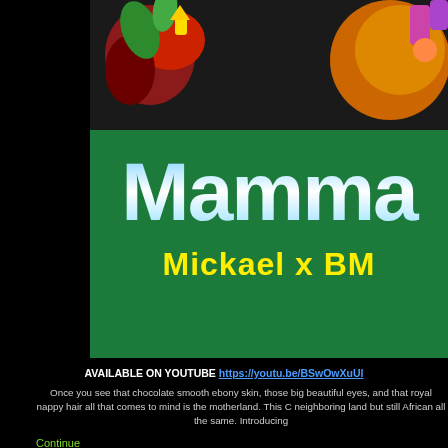[Figure (illustration): Music video thumbnail with colorful African-themed art, stylized text 'Mamma' in gradient blue-white, subtitle 'Mickael x BM' in yellow on green background]
AVAILABLE ON YOUTUBE https://youtu.be/BSwOwXuUl...
Once you see that chocolate smooth ebony skin, those big beautiful eyes, and that royal nappy hair all that comes to mind is the motherland. This C neighboring land but still African all the same. Introducing
Continue
Added by Tampa Mystic on September 23, 2020 at 7:59pm — No Comments
[New Music] Lil Sicc Tex2Cali (feat. Justice Damien)
[Figure (photo): Photo of a dark green car interior/exterior shot from above]
Subscribe